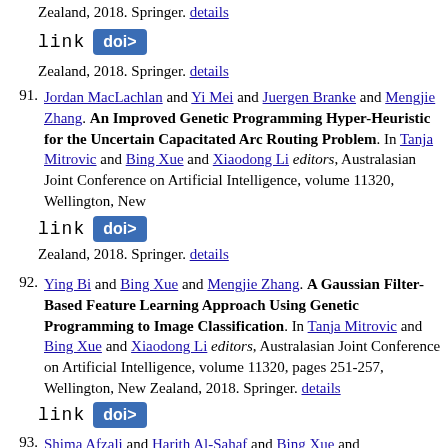Artificial Intelligence, volume 11320, Wellington, New Zealand, 2018. Springer. details [link] [doi>]
91. Jordan MacLachlan and Yi Mei and Juergen Branke and Mengjie Zhang. An Improved Genetic Programming Hyper-Heuristic for the Uncertain Capacitated Arc Routing Problem. In Tanja Mitrovic and Bing Xue and Xiaodong Li editors, Australasian Joint Conference on Artificial Intelligence, volume 11320, Wellington, New Zealand, 2018. Springer. details [link] [doi>]
92. Ying Bi and Bing Xue and Mengjie Zhang. A Gaussian Filter-Based Feature Learning Approach Using Genetic Programming to Image Classification. In Tanja Mitrovic and Bing Xue and Xiaodong Li editors, Australasian Joint Conference on Artificial Intelligence, volume 11320, pages 251-257, Wellington, New Zealand, 2018. Springer. details [link] [doi>]
93. Shima Afzali and Harith Al-Sahaf and Bing Xue and